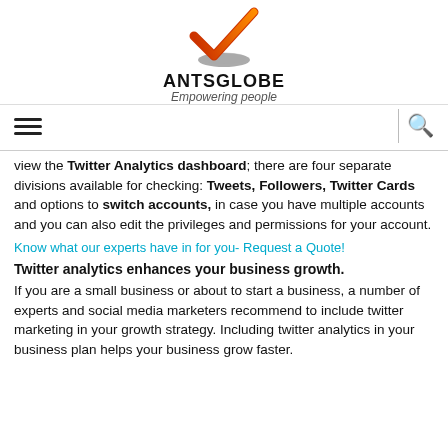[Figure (logo): Antsglobe logo: orange and red checkmark above a gray disc, with bold text ANTSGLOBE and italic tagline Empowering people]
≡  |  🔍
view the Twitter Analytics dashboard; there are four separate divisions available for checking: Tweets, Followers, Twitter Cards and options to switch accounts, in case you have multiple accounts and you can also edit the privileges and permissions for your account.
Know what our experts have in for you- Request a Quote!
Twitter analytics enhances your business growth.
If you are a small business or about to start a business, a number of experts and social media marketers recommend to include twitter marketing in your growth strategy. Including twitter analytics in your business plan helps your business grow faster.